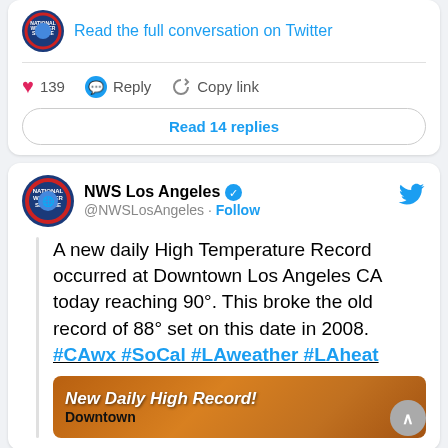[Figure (screenshot): Top portion of a Twitter/social media card showing NWS logo and a link 'Read the full conversation on Twitter', with like (139), reply, and copy link actions, and a 'Read 14 replies' button.]
[Figure (screenshot): Twitter post by NWS Los Angeles (@NWSLosAngeles) with verified badge. Tweet text: 'A new daily High Temperature Record occurred at Downtown Los Angeles CA today reaching 90°. This broke the old record of 88° set on this date in 2008. #CAwx #SoCal #LAweather #LAheat'. Includes a partial 'New Daily High Record! Downtown' image at the bottom.]